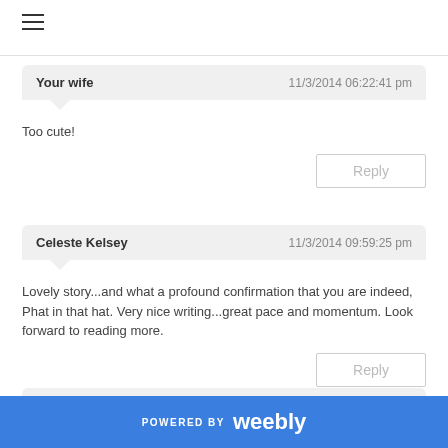[Figure (other): Hamburger menu icon (three horizontal lines)]
Your wife   11/3/2014 06:22:41 pm
Too cute!
Reply
Celeste Kelsey   11/3/2014 09:59:25 pm
Lovely story...and what a profound confirmation that you are indeed, Phat in that hat. Very nice writing...great pace and momentum. Look forward to reading more.
Reply
Ira   11/4/2014 11:39:53 am
POWERED BY weebly